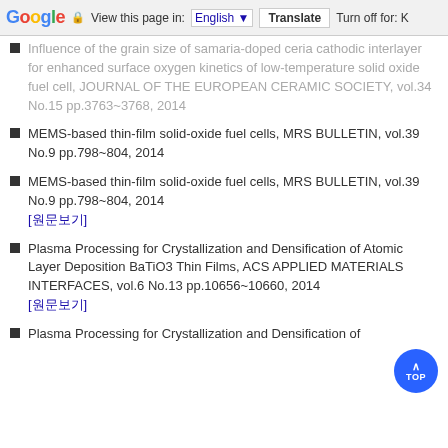Google | View this page in: English | Translate | Turn off for: K
Influence of the grain size of samaria-doped ceria cathodic interlayer for enhanced surface oxygen kinetics of low-temperature solid oxide fuel cell, JOURNAL OF THE EUROPEAN CERAMIC SOCIETY, vol.34 No.15 pp.3763~3768, 2014
MEMS-based thin-film solid-oxide fuel cells, MRS BULLETIN, vol.39 No.9 pp.798~804, 2014
MEMS-based thin-film solid-oxide fuel cells, MRS BULLETIN, vol.39 No.9 pp.798~804, 2014 [원문보기]
Plasma Processing for Crystallization and Densification of Atomic Layer Deposition BaTiO3 Thin Films, ACS APPLIED MATERIALS INTERFACES, vol.6 No.13 pp.10656~10660, 2014 [원문보기]
Plasma Processing for Crystallization and Densification of